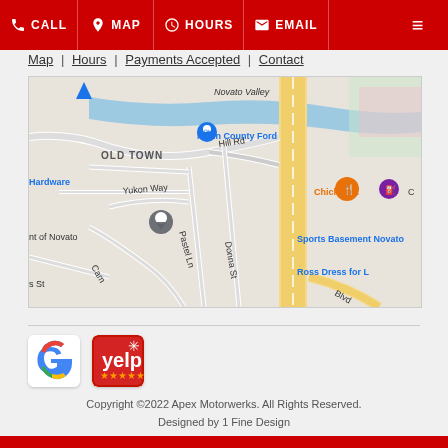CALL | MAP | HOURS | EMAIL
Map | Hours | Payments Accepted | Contact
[Figure (map): Google Maps view showing Old Town Novato area with roads, landmarks including Marin County Ford, Chick-fil-A, Sports Basement Novato, Ross Dress for Less, and a location pin in Old Town]
[Figure (logo): Google review icon and Yelp review icon]
Copyright ©2022 Apex Motorwerks. All Rights Reserved. Designed by 1 Fine Design